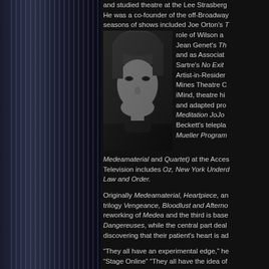[Figure (photo): Black and white headshot photo of a young man with light hair, wearing a dark turtleneck, looking directly at camera]
and studied theatre at the Lee Strasberg He was a co-founder of the off-Broadway seasons of shows included Joe Orton's role of Wilson and Jean Genet's Th and as Associate Sartre's No Exit Artist-in-Residence Mines Theatre C iMind, theatre hi and adapted pro Meditation JoJo Beckett's telepla Mueller Program Medeamaterial and Quartet) at the Acces Television includes Oz, New York Underd Law and Order.
Originally Medeamaterial, Heartpiece, and trilogy Vengeance, Bloodlust and Afterno reworking of Medea and the third is base Dangereuses, while the central part deal discovering that their patient's heart is ad
"They all have an experimental edge," he "Stage Online" "They all have the idea of